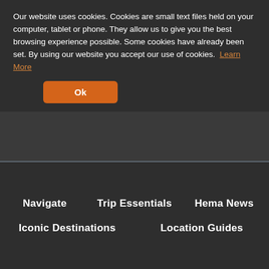Our website uses cookies. Cookies are small text files held on your computer, tablet or phone. They allow us to give you the best browsing experience possible. Some cookies have already been set. By using our website you accept our use of cookies. Learn More
Ok
[Figure (photo): A white Toyota 4WD vehicle with a bull bar and roof rack, towing an off-road trailer, parked on a red dirt road in an arid Australian outback landscape with mountains in the background. A sign on the vehicle reads 'Prepared to explore'. License plate shows OIIMA P.]
Navigate   Trip Essentials   Hema News
Iconic Destinations   Location Guides